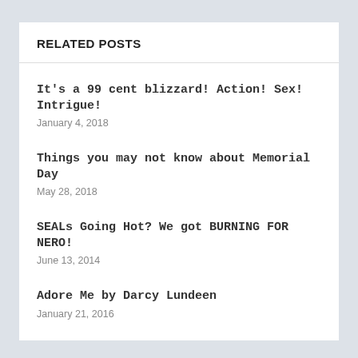RELATED POSTS
It's a 99 cent blizzard! Action! Sex! Intrigue!
January 4, 2018
Things you may not know about Memorial Day
May 28, 2018
SEALs Going Hot? We got BURNING FOR NERO!
June 13, 2014
Adore Me by Darcy Lundeen
January 21, 2016